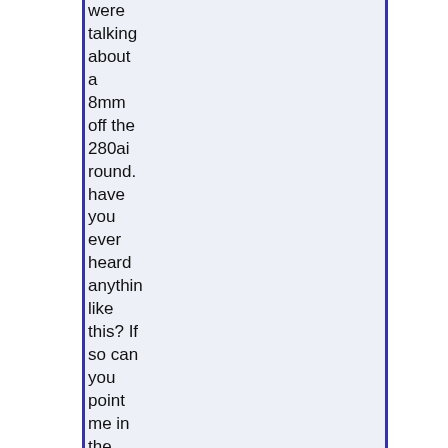were talking about a 8mm off the 280ai round. have you ever heard anything like this? If so can you point me in the right direction Thanks Jim from
View Conversation
[Figure (other): Avatar placeholder with a question mark symbol]
07-23-2015